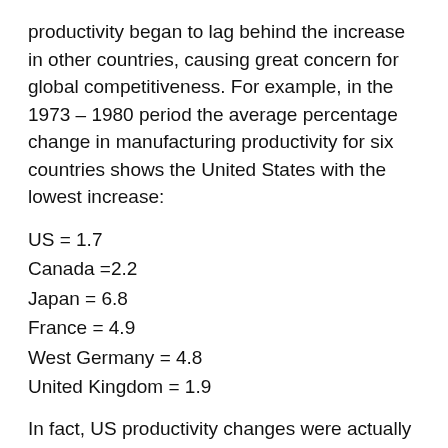productivity began to lag behind the increase in other countries, causing great concern for global competitiveness. For example, in the 1973 – 1980 period the average percentage change in manufacturing productivity for six countries shows the United States with the lowest increase:
US = 1.7
Canada =2.2
Japan = 6.8
France = 4.9
West Germany = 4.8
United Kingdom = 1.9
In fact, US productivity changes were actually 2.4 percent in 1974, and 0.3 percent in 1980. This leveling off of productivity improvement came at a